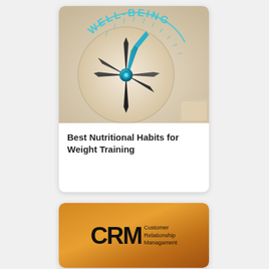[Figure (photo): A compass with needle pointing toward the word WELL-BEING written in teal/cyan letters along the arc, on a light beige background.]
Best Nutritional Habits for Weight Training
[Figure (logo): CRM logo with large bold letters CRM and stacked text reading Customer Relationship Managament on a gold/bronze gradient background card.]